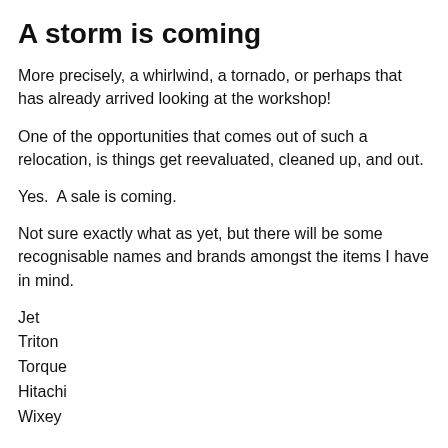A storm is coming
More precisely, a whirlwind, a tornado, or perhaps that has already arrived looking at the workshop!
One of the opportunities that comes out of such a relocation, is things get reevaluated, cleaned up, and out.
Yes.  A sale is coming.
Not sure exactly what as yet, but there will be some recognisable names and brands amongst the items I have in mind.
Jet
Triton
Torque
Hitachi
Wixey